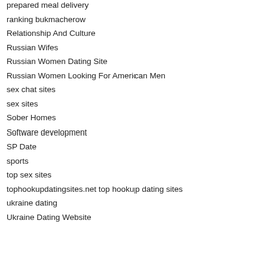prepared meal delivery
ranking bukmacherow
Relationship And Culture
Russian Wifes
Russian Women Dating Site
Russian Women Looking For American Men
sex chat sites
sex sites
Sober Homes
Software development
SP Date
sports
top sex sites
tophookupdatingsites.net top hookup dating sites
ukraine dating
Ukraine Dating Website